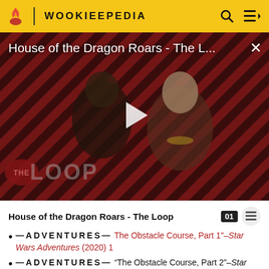WOOKIEEPEDIA
[Figure (screenshot): Video thumbnail for 'House of the Dragon Roars - The L...' with play button overlay, diagonal striped red/black background, two characters (armored figure and woman with gold necklace), THE LOOP badge at bottom left, close X button top right]
House of the Dragon Roars - The Loop
— ADVENTURES — The Obstacle Course, Part 1"–Star Wars Adventures (2020) 1
— ADVENTURES — "The Obstacle Course, Part 2"–Star Wars Adventures (2020) 2